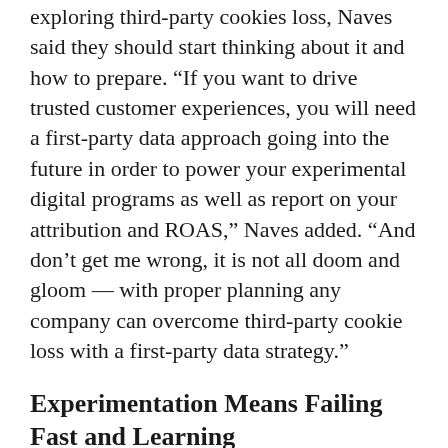exploring third-party cookies loss, Naves said they should start thinking about it and how to prepare. “If you want to drive trusted customer experiences, you will need a first-party data approach going into the future in order to power your experimental digital programs as well as report on your attribution and ROAS,” Naves added. “And don’t get me wrong, it is not all doom and gloom — with proper planning any company can overcome third-party cookie loss with a first-party data strategy.”
Experimentation Means Failing Fast and Learning
Creating a place where experimentation and learning happens means being OK with failure, as long you are gleaning whatever you can and applying those lessons learned to your strategy